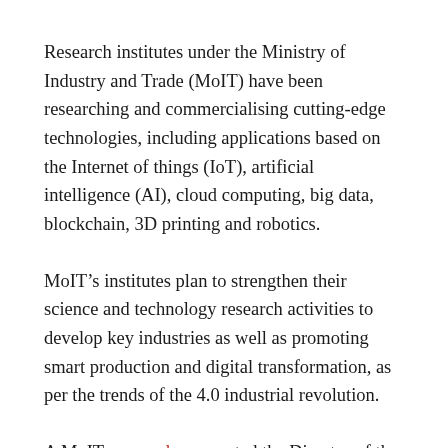Research institutes under the Ministry of Industry and Trade (MoIT) have been researching and commercialising cutting-edge technologies, including applications based on the Internet of things (IoT), artificial intelligence (AI), cloud computing, big data, blockchain, 3D printing and robotics.
MoIT’s institutes plan to strengthen their science and technology research activities to develop key industries as well as promoting smart production and digital transformation, as per the trends of the 4.0 industrial revolution.
A MoIT press release quoted the Director of the Vietnam Research Institute of Electronics